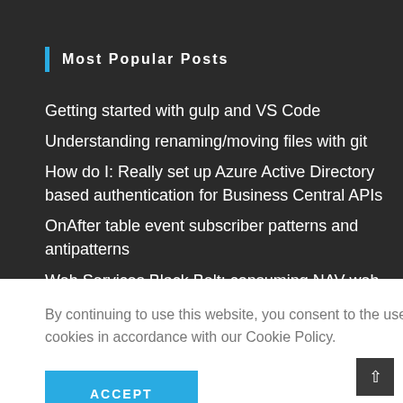Most Popular Posts
Getting started with gulp and VS Code
Understanding renaming/moving files with git
How do I: Really set up Azure Active Directory based authentication for Business Central APIs
OnAfter table event subscriber patterns and antipatterns
Web Services Black Belt: consuming NAV web services using pure C/AL
By continuing to use this website, you consent to the use of cookies in accordance with our Cookie Policy.
ACCEPT